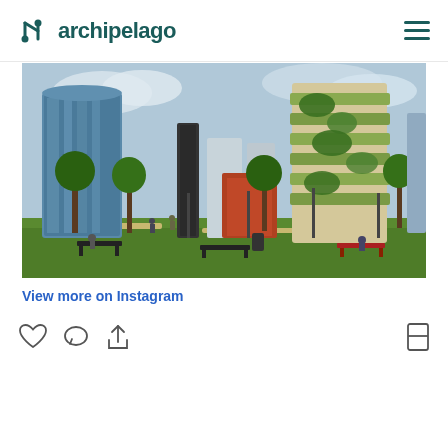archipelago
[Figure (photo): Urban park scene with modern skyscrapers including a green vertical forest building with plants on balconies, glass towers, and people relaxing on benches in a city park with trees and grass.]
View more on Instagram